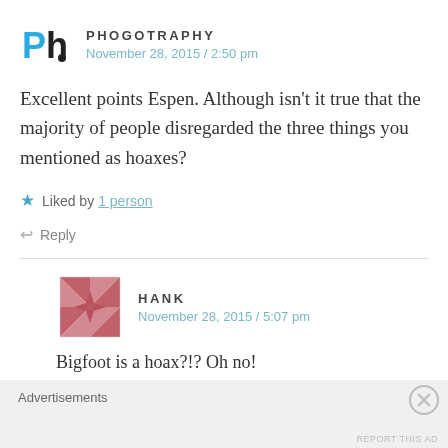[Figure (logo): Ph. logo in blue and black]
PHOGOTRAPHY
November 28, 2015 / 2:50 pm
Excellent points Espen. Although isn't it true that the majority of people disregarded the three things you mentioned as hoaxes?
Liked by 1 person
Reply
[Figure (logo): Hank avatar with geometric quilt pattern in red/pink]
HANK
November 28, 2015 / 5:07 pm
Bigfoot is a hoax?!? Oh no!
Advertisements